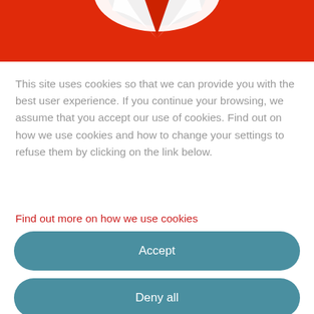[Figure (photo): Partial view of a person wearing a red shirt/jersey with white collar, cropped showing upper chest and collar area against red fabric background]
This site uses cookies so that we can provide you with the best user experience. If you continue your browsing, we assume that you accept our use of cookies. Find out on how we use cookies and how to change your settings to refuse them by clicking on the link below.
Find out more on how we use cookies
Accept
Deny all